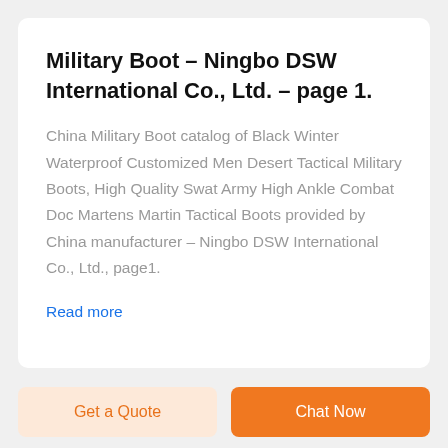Military Boot – Ningbo DSW International Co., Ltd. – page 1.
China Military Boot catalog of Black Winter Waterproof Customized Men Desert Tactical Military Boots, High Quality Swat Army High Ankle Combat Doc Martens Martin Tactical Boots provided by China manufacturer – Ningbo DSW International Co., Ltd., page1.
Read more